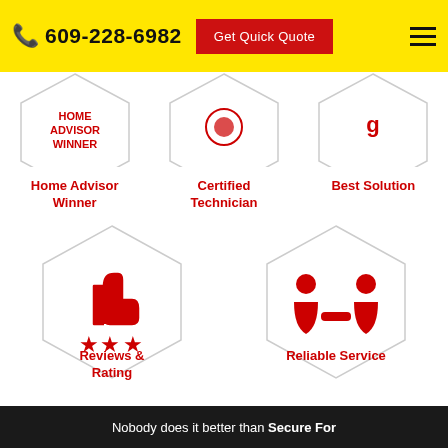609-228-6982   Get Quick Quote
[Figure (illustration): Three hexagon icons partially visible at top: Home Advisor Winner badge, Certified Technician badge, Best Solution badge]
Home Advisor Winner
Certified Technician
Best Solution
[Figure (illustration): Hexagon icon with thumbs up and three stars — Reviews & Rating]
[Figure (illustration): Hexagon icon with two people shaking hands — Reliable Service]
Reviews & Rating
Reliable Service
Nobody does it better than Secure For...